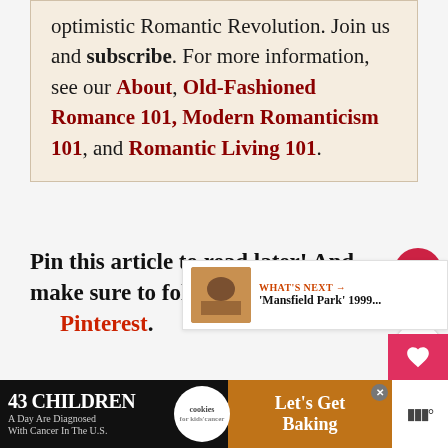optimistic Romantic Revolution. Join us and subscribe. For more information, see our About, Old-Fashioned Romance 101, Modern Romanticism 101, and Romantic Living 101.
Pin this article to read later! And make sure to follow us on Pinterest.
[Figure (screenshot): Social sharing sidebar with heart/like button showing 547 count and share button]
[Figure (screenshot): What's Next widget showing 'Mansfield Park' 1999... with thumbnail image]
[Figure (infographic): Advertisement bar: 43 Children A Day Are Diagnosed With Cancer In The U.S. - cookies for kids' cancer - Let's Get Baking]